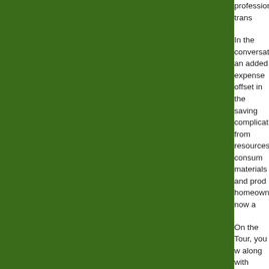[Figure (photo): Large dark green rectangle occupying the left approximately 87% of the page.]
professionals trans...
In the conversation... an added expense... offset in the saving... complications from... resources) consum... materials and prod... homeowner, now a...
On the Tour, you w... along with other gr... you will also find p... taken to reduce co... cities and towns w... along with recent d...
Tickets for the Tour... tickets online at the... Triangle. The ticke... that can be used a... and designers will... home.
Sidebar: For the as...